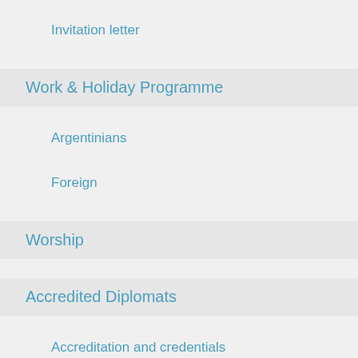Invitation letter
Work & Holiday Programme
Argentinians
Foreign
Worship
Accredited Diplomats
Accreditation and credentials